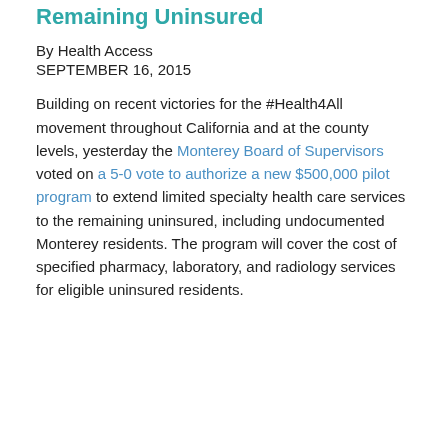Remaining Uninsured
By Health Access
SEPTEMBER 16, 2015
Building on recent victories for the #Health4All movement throughout California and at the county levels, yesterday the Monterey Board of Supervisors voted on a 5-0 vote to authorize a new $500,000 pilot program to extend limited specialty health care services to the remaining uninsured, including undocumented Monterey residents. The program will cover the cost of specified pharmacy, laboratory, and radiology services for eligible uninsured residents.